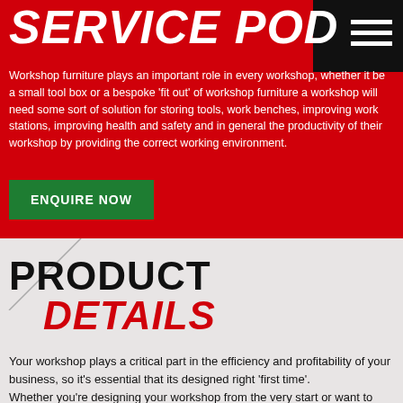SERVICE POD
Workshop furniture plays an important role in every workshop, whether it be a small tool box or a bespoke 'fit out' of workshop furniture a workshop will need some sort of solution for storing tools, work benches, improving work stations, improving health and safety and in general the productivity of their workshop by providing the correct working environment.
ENQUIRE NOW
PRODUCT DETAILS
Your workshop plays a critical part in the efficiency and profitability of your business, so it's essential that its designed right 'first time'. Whether you're designing your workshop from the very start or want to